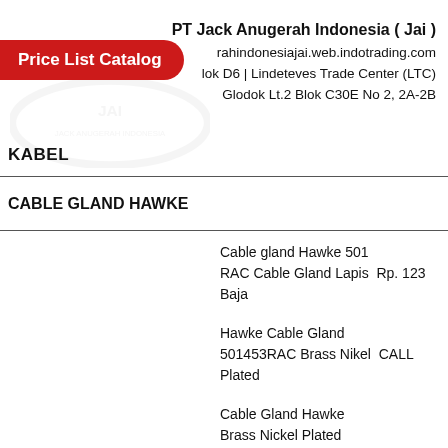PT Jack Anugerah Indonesia ( Jai )
rahindonesiajai.web.indotrading.com
lok D6 | Lindeteves Trade Center (LTC)
Glodok Lt.2 Blok C30E No 2, 2A-2B
Price List Catalog
KABEL
CABLE GLAND HAWKE
Cable gland Hawke 501 RAC Cable Gland Lapis  Rp. 123 Baja
Hawke Cable Gland 501453RAC Brass Nikel  CALL Plated
Cable Gland Hawke Brass Nickel Plated